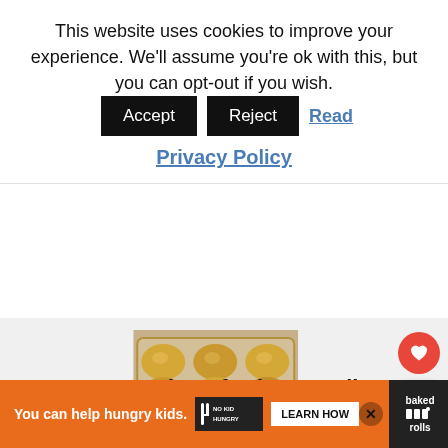This website uses cookies to improve your experience. We'll assume you're ok with this, but you can opt-out if you wish.
Accept | Reject | Read Privacy Policy
[Figure (photo): Photo of golden homemade soft dinner rolls in a glass baking dish]
1
WHAT'S NEXT → 20 Best Fall Salad Recipes
Easy Homemade Soft Dinner Rolls
You can help hungry kids. NO KID HUNGRY LEARN HOW